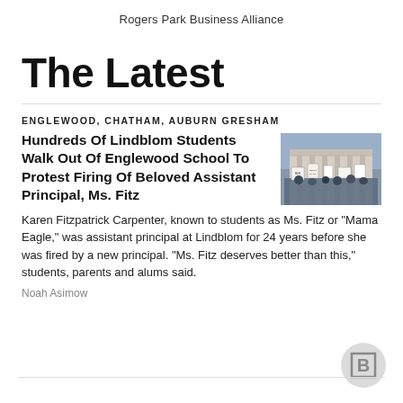Rogers Park Business Alliance
The Latest
ENGLEWOOD, CHATHAM, AUBURN GRESHAM
Hundreds Of Lindblom Students Walk Out Of Englewood School To Protest Firing Of Beloved Assistant Principal, Ms. Fitz
[Figure (photo): Students holding protest signs outside a building]
Karen Fitzpatrick Carpenter, known to students as Ms. Fitz or "Mama Eagle," was assistant principal at Lindblom for 24 years before she was fired by a new principal. "Ms. Fitz deserves better than this," students, parents and alums said.
Noah Asimow
[Figure (logo): Block Club Chicago logo - letter B in a square inside a circle]